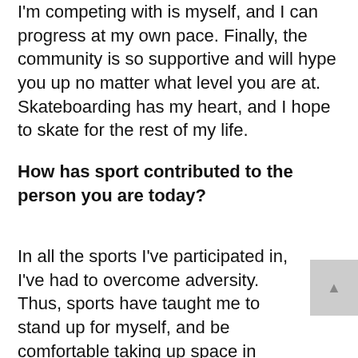I'm competing with is myself, and I can progress at my own pace. Finally, the community is so supportive and will hype you up no matter what level you are at. Skateboarding has my heart, and I hope to skate for the rest of my life.
How has sport contributed to the person you are today?
In all the sports I've participated in, I've had to overcome adversity. Thus, sports have taught me to stand up for myself, and be comfortable taking up space in traditionally male-centric spaces. Playing sports has also given me a window as to how power and social